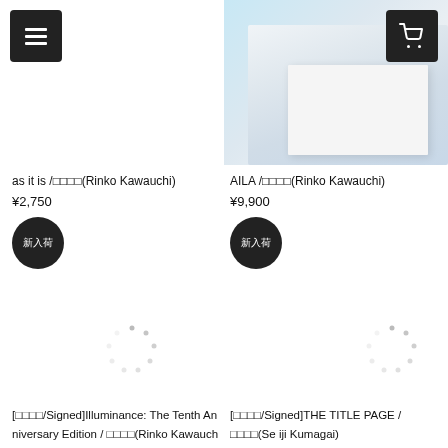[Figure (screenshot): Menu hamburger button top left]
[Figure (photo): Book product photo top right - light blue background with open book/white pages]
[Figure (screenshot): Cart icon button top right]
as it is / □□□□(Rinko Kawauchi)
¥2,750
AILA / □□□□(Rinko Kawauchi)
¥9,900
[Figure (other): New arrival badge circle - left, 新入荷]
[Figure (other): New arrival badge circle - right, 新入荷]
[Figure (other): Loading spinner placeholder circle - left]
[Figure (other): Loading spinner placeholder circle - right]
[□□□□/Signed]Illuminance: The Tenth Anniversary Edition / □□□□(Rinko Kawauch
[□□□□/Signed]THE TITLE PAGE / □□□□(Seiji Kumagai)